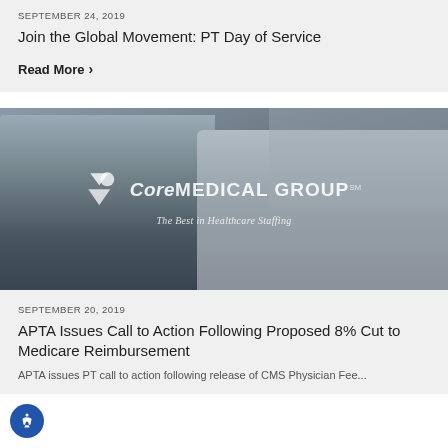SEPTEMBER 24, 2019
Join the Global Movement: PT Day of Service
Read More >
[Figure (photo): Healthcare professional (doctor/nurse) speaking with an elderly patient. Core Medical Group logo overlay with tagline 'The Best in Healthcare Staffing'.]
SEPTEMBER 20, 2019
APTA Issues Call to Action Following Proposed 8% Cut to Medicare Reimbursement
APTA issues PT call to action following release of CMS Physician Fee...